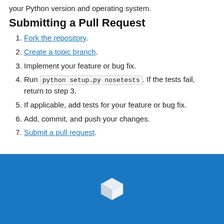your Python version and operating system.
Submitting a Pull Request
Fork the repository.
Create a topic branch.
Implement your feature or bug fix.
Run python setup.py nosetests. If the tests fail, return to step 3.
If applicable, add tests for your feature or bug fix.
Add, commit, and push your changes.
Submit a pull request.
[Figure (logo): White 3D cube logo on blue background footer]